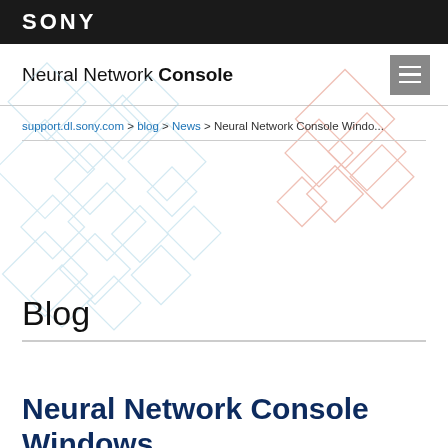SONY
Neural Network Console
support.dl.sony.com > blog > News > Neural Network Console Windo...
Blog
Neural Network Console Windows